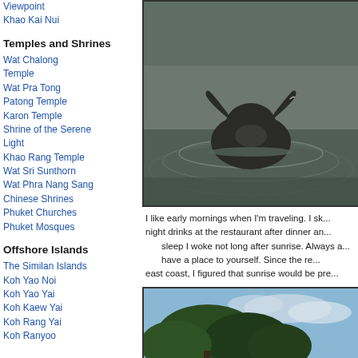Viewpoint
Khao Kai Nui
Temples and Shrines
Wat Chalong Temple
Wat Pra Tong
Patong Temple
Karon Temple
Shrine of the Serene Light
Khao Rang Temple
Wat Sri Sunthorn
Wat Phra Nang Sang
Chinese Shrines
Phuket Churches
Phuket Mosques
Offshore Islands
The Similan Islands
Koh Yao Noi
Koh Yao Yai
Koh Kaew Yai
Koh Rang Yai
Koh Ranyoo
[Figure (photo): Water buffalo swimming in water, seen from behind with horns and head above water, creating ripples]
I like early mornings when I'm traveling. I sk... night drinks at the restaurant after dinner an... sleep I woke not long after sunrise. Always a... have a place to yourself. Since the re... east coast, I figured that sunrise would be pre...
[Figure (photo): Outdoor landscape photo showing trees against a partly cloudy sky]